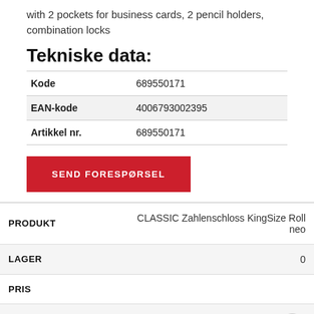with 2 pockets for business cards, 2 pencil holders, combination locks
Tekniske data:
|  |  |
| --- | --- |
| Kode | 689550171 |
| EAN-kode | 4006793002395 |
| Artikkel nr. | 689550171 |
SEND FORESPØRSEL
| PRODUKT | CLASSIC Zahlenschloss KingSize Roll neo |
| --- | --- |
| LAGER | 0 |
| PRIS |  |
| KJØP | Logg inn for å se p |